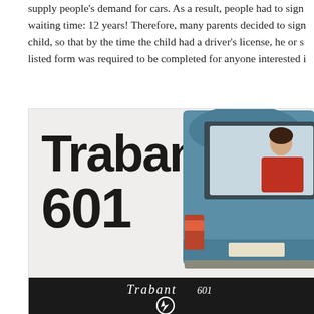supply people's demand for cars. As a result, people had to sign waiting time: 12 years! Therefore, many parents decided to sign child, so that by the time the child had a driver's license, he or s listed form was required to be completed for anyone interested i
[Figure (photo): Advertisement photo for the Trabant 601 car. Shows the rear view of a blue Trabant 601 automobile with a person in a red jacket visible through the rear window. The ad has large bold black text reading 'Trabant 601' on a white/light gray background. A black banner at the bottom displays the Trabant 601 logo in stylized script with an emblem.]